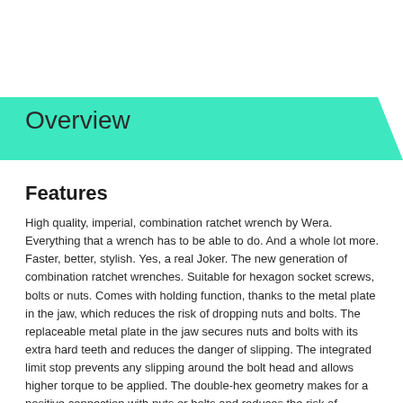Overview
Features
High quality, imperial, combination ratchet wrench by Wera. Everything that a wrench has to be able to do. And a whole lot more. Faster, better, stylish. Yes, a real Joker. The new generation of combination ratchet wrenches. Suitable for hexagon socket screws, bolts or nuts. Comes with holding function, thanks to the metal plate in the jaw, which reduces the risk of dropping nuts and bolts. The replaceable metal plate in the jaw secures nuts and bolts with its extra hard teeth and reduces the danger of slipping. The integrated limit stop prevents any slipping around the bolt head and allows higher torque to be applied. The double-hex geometry makes for a positive connection with nuts or bolts and reduces the risk of slipping at extreme loads for a 30° operating range.